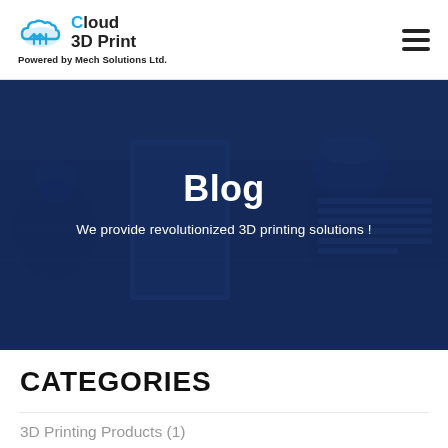Cloud 3D Print — Powered by Mech Solutions Ltd.
[Figure (screenshot): Hero banner with dark blue overlay showing a desk with notebook, coffee cup, keyboard and headphones. Centered text reads 'Blog' and 'We provide revolutionized 3D printing solutions !']
Blog
We provide revolutionized 3D printing solutions !
CATEGORIES
3D Printing Products (1)